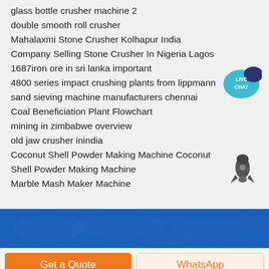glass bottle crusher machine 2
double smooth roll crusher
Mahalaxmi Stone Crusher Kolhapur India
Company Selling Stone Crusher In Nigeria Lagos
1687iron ore in sri lanka important
4800 series impact crushing plants from lippmann
sand sieving machine manufacturers chennai
Coal Beneficiation Plant Flowchart
mining in zimbabwe overview
old jaw crusher inindia
Coconut Shell Powder Making Machine Coconut Shell Powder Making Machine
Marble Mash Maker Machine
[Figure (illustration): Live Chat badge: teal speech bubble with text LIVE CHAT]
[Figure (illustration): Dark gray rocket ship icon]
[Figure (illustration): Blue banner with subtle world map texture]
Get a Quote
WhatsApp